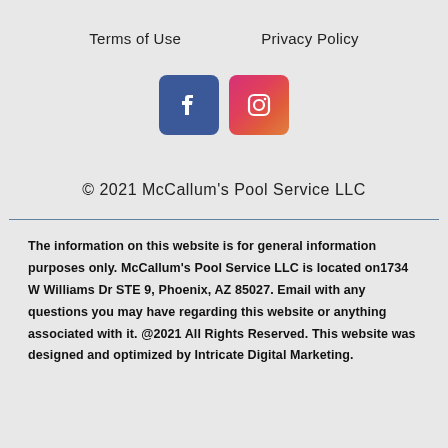Terms of Use        Privacy Policy
[Figure (logo): Facebook and Instagram social media icons as rounded square buttons (Facebook in blue, Instagram in pink/red gradient)]
© 2021 McCallum's Pool Service LLC
The information on this website is for general information purposes only. McCallum's Pool Service LLC is located on1734 W Williams Dr STE 9, Phoenix, AZ 85027. Email with any questions you may have regarding this website or anything associated with it. @2021 All Rights Reserved. This website was designed and optimized by Intricate Digital Marketing.